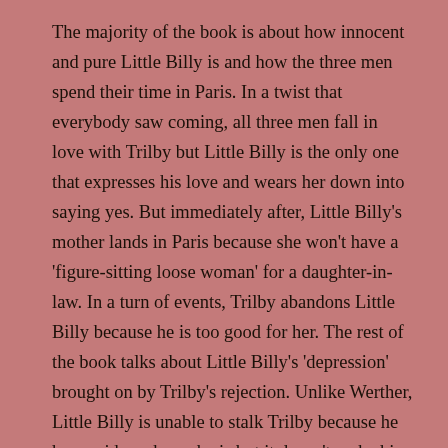The majority of the book is about how innocent and pure Little Billy is and how the three men spend their time in Paris. In a twist that everybody saw coming, all three men fall in love with Trilby but Little Billy is the only one that expresses his love and wears her down into saying yes. But immediately after, Little Billy's mother lands in Paris because she won't have a 'figure-sitting loose woman' for a daughter-in-law. In a turn of events, Trilby abandons Little Billy because he is too good for her. The rest of the book talks about Little Billy's 'depression' brought on by Trilby's rejection. Unlike Werther, Little Billy is unable to stalk Trilby because he has no idea where she is but it doesn't make him any less insufferable than Werther. The moaning, the whining, the fetishizing of the 'virgin' is all just too